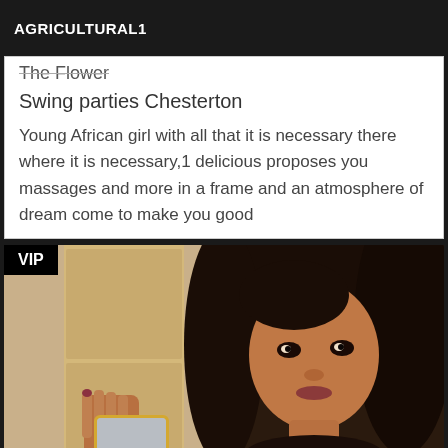AGRICULTURAL1
The Flower
Swing parties Chesterton
Young African girl with all that it is necessary there where it is necessary,1 delicious proposes you massages and more in a frame and an atmosphere of dream come to make you good
[Figure (photo): Woman taking a mirror selfie with a smartphone, dark hair, wearing dark clothing, VIP badge overlay in top left corner]